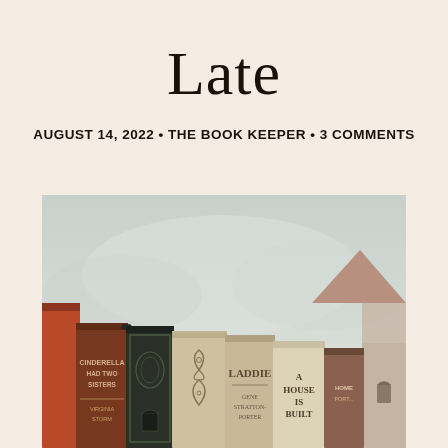Late
AUGUST 14, 2022 • THE BOOK KEEPER • 3 COMMENTS
[Figure (photo): A row of old, worn hardcover books standing upright. Visible spines include 'Cinderella Had Two Sisters — Virginia Storm', a dark decorative spine with floral embossing, a cream spine with ornamental design, 'Laddie — Gene Stratton-Porter', 'A House Is Built', and a partial red book on the left. A small bird perches on one of the spines. On the far right is a drawn/illustrated pointed tower resembling a building turret. Background is a soft grey-white misty sky.]